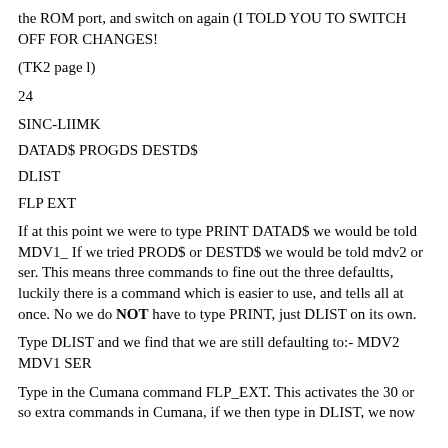the ROM port, and switch on again (I TOLD YOU TO SWITCH OFF FOR CHANGES!
(TK2 page l)
24
SINC-LIIMK
DATAD$ PROGDS DESTD$
DLIST
FLP EXT
If at this point we were to type PRINT DATAD$ we would be told MDV1_ If we tried PROD$ or DESTD$ we would be told mdv2 or ser. This means three commands to fine out the three defaultts, luckily there is a command which is easier to use, and tells all at once. No we do NOT have to type PRINT, just DLIST on its own.
Type DLIST and we find that we are still defaulting to:- MDV2 MDV1 SER
Type in the Cumana command FLP_EXT. This activates the 30 or so extra commands in Cumana, if we then type in DLIST, we now